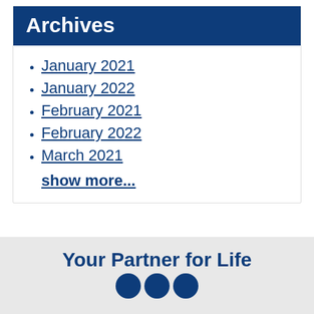Archives
January 2021
January 2022
February 2021
February 2022
March 2021
show more...
Your Partner for Life